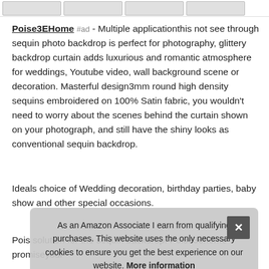[Figure (other): Row of four thumbnail product images at the top of the page]
Poise3EHome #ad - Multiple applicationthis not see through sequin photo backdrop is perfect for photography, glittery backdrop curtain adds luxurious and romantic atmosphere for weddings, Youtube video, wall background scene or decoration. Masterful design3mm round high density sequins embroidered on 100% Satin fabric, you wouldn't need to worry about the scenes behind the curtain shown on your photograph, and still have the shiny looks as conventional sequin backdrop.
Ideals choice of Wedding decoration, birthday parties, baby show and other special occasions.
Pois solution for the sequin backdrop. Poise3ehome promiseyour
As an Amazon Associate I earn from qualifying purchases. This website uses the only necessary cookies to ensure you get the best experience on our website. More information